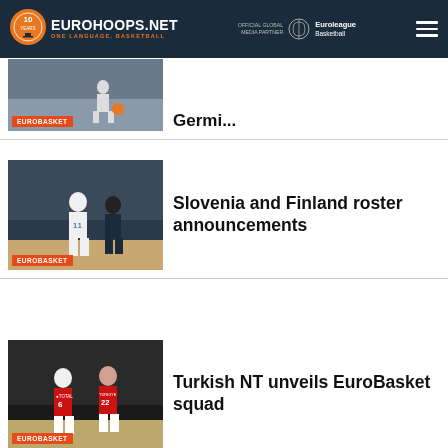EUROHOOPS.NET — ONE LANGUAGE, BASKETBALL | OFFICIAL GLOBAL MEDIA PARTNER Euroleague Basketball
[Figure (photo): Partial basketball photo with EUROBASKET badge at bottom, cropped top article]
Slovenia and Finland roster announcements
[Figure (photo): Basketball players in Slovenia white uniforms, EUROBASKET badge]
Turkish NT unveils EuroBasket squad
[Figure (photo): Turkish national team players in red uniforms numbered 6 and 22, EUROBASKET badge]